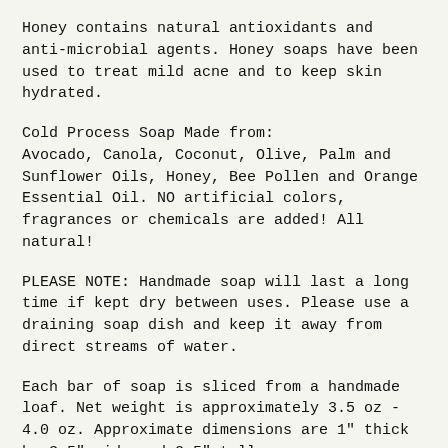Honey contains natural antioxidants and anti-microbial agents. Honey soaps have been used to treat mild acne and to keep skin hydrated.
Cold Process Soap Made from:
Avocado, Canola, Coconut, Olive, Palm and Sunflower Oils, Honey, Bee Pollen and Orange Essential Oil. NO artificial colors, fragrances or chemicals are added! All natural!
PLEASE NOTE: Handmade soap will last a long time if kept dry between uses. Please use a draining soap dish and keep it away from direct streams of water.
Each bar of soap is sliced from a handmade loaf. Net weight is approximately 3.5 oz - 4.0 oz. Approximate dimensions are 1" thick by 3.5" wide and 2.5" tall.
Shipping is $4.30 for the first bar, $1.00 for each additional bar.